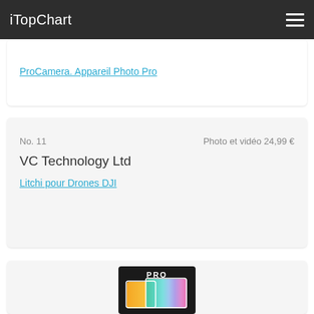iTopChart
ProCamera. Appareil Photo Pro
No. 11   Photo et vidéo 24,99 €
VC Technology Ltd
Litchi pour Drones DJI
[Figure (illustration): App icon for a photo/video PRO application showing two overlapping rectangles with gradient colors (orange, yellow, green, teal, purple, pink) on a black background with PRO text at top]